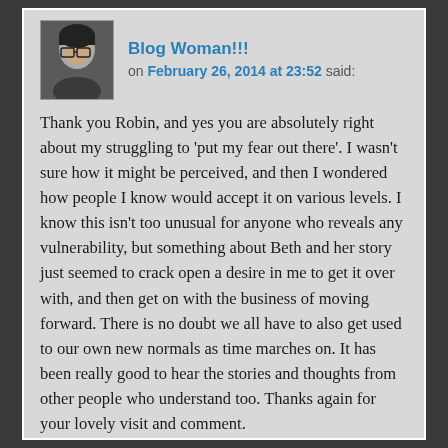Blog Woman!!! on February 26, 2014 at 23:52 said:
Thank you Robin, and yes you are absolutely right about my struggling to 'put my fear out there'. I wasn't sure how it might be perceived, and then I wondered how people I know would accept it on various levels. I know this isn't too unusual for anyone who reveals any vulnerability, but something about Beth and her story just seemed to crack open a desire in me to get it over with, and then get on with the business of moving forward. There is no doubt we all have to also get used to our own new normals as time marches on. It has been really good to hear the stories and thoughts from other people who understand too. Thanks again for your lovely visit and comment.